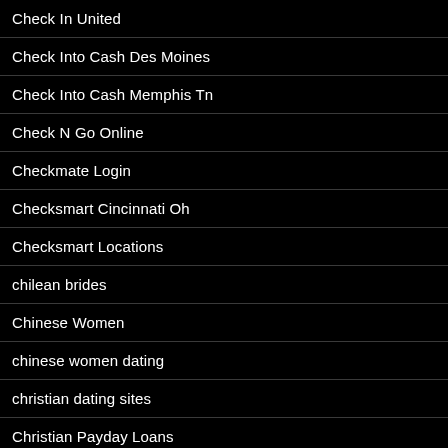Check In United
Check Into Cash Des Moines
Check Into Cash Memphis Tn
Check N Go Online
Checkmate Login
Checksmart Cincinnati Oh
Checksmart Locations
chilean brides
Chinese Women
chinese women dating
christian dating sites
Christian Payday Loans
Christianmingle